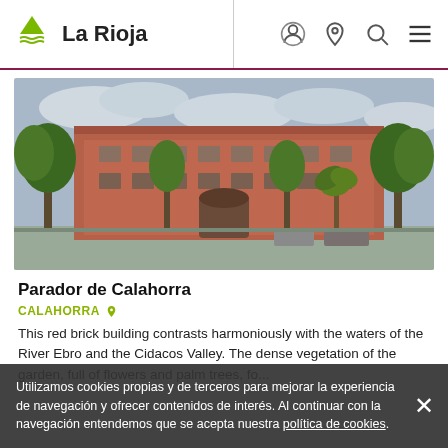La Rioja
[Figure (photo): Exterior photo of Parador de Calahorra — a large red brick building with multiple floors, surrounded by trees including palm trees, under a cloudy sky.]
Parador de Calahorra
CALAHORRA
This red brick building contrasts harmoniously with the waters of the River Ebro and the Cidacos Valley. The dense vegetation of the garden, full of flowers and palm trees, fo...
Utilizamos cookies propias y de terceros para mejorar la experiencia de navegación y ofrecer contenidos de interés. Al continuar con la navegación entendemos que se acepta nuestra política de cookies.